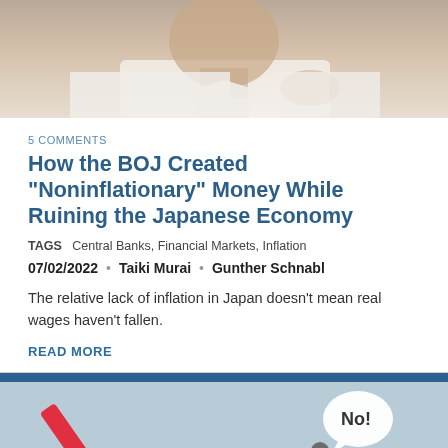[Figure (photo): Person in white shirt, partial face visible, thinking or contemplating pose]
5 COMMENTS
How the BOJ Created "Noninflationary" Money While Ruining the Japanese Economy
TAGS   Central Banks, Financial Markets, Inflation
07/02/2022 • Taiki Murai • Gunther Schnabl
The relative lack of inflation in Japan doesn't mean real wages haven't fallen.
READ MORE
[Figure (illustration): Blue background illustration with a red diagonal slash/line, a small figure, and a speech bubble saying 'No!']